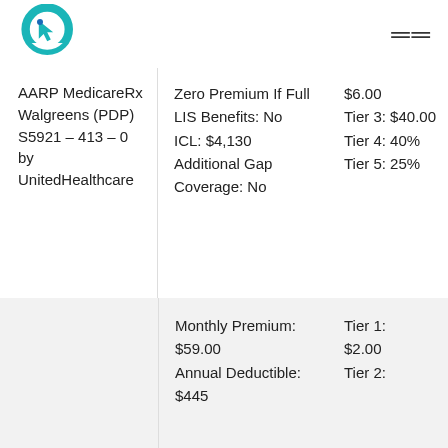Logo and navigation header
AARP MedicareRx Walgreens (PDP) S5921 – 413 – 0 by UnitedHealthcare
Zero Premium If Full LIS Benefits: No ICL: $4,130 Additional Gap Coverage: No
$6.00 Tier 3: $40.00 Tier 4: 40% Tier 5: 25%
Monthly Premium: $59.00 Annual Deductible: $445
Tier 1: $2.00 Tier 2: